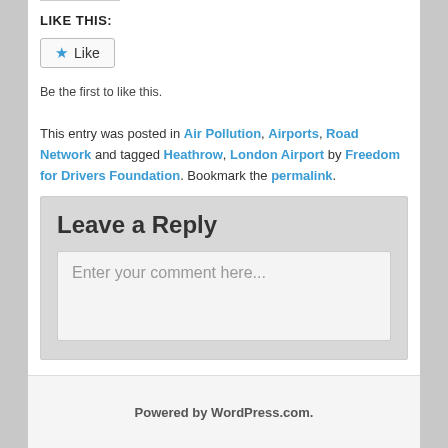LIKE THIS:
Like
Be the first to like this.
This entry was posted in Air Pollution, Airports, Road Network and tagged Heathrow, London Airport by Freedom for Drivers Foundation. Bookmark the permalink.
Leave a Reply
Enter your comment here...
Powered by WordPress.com.